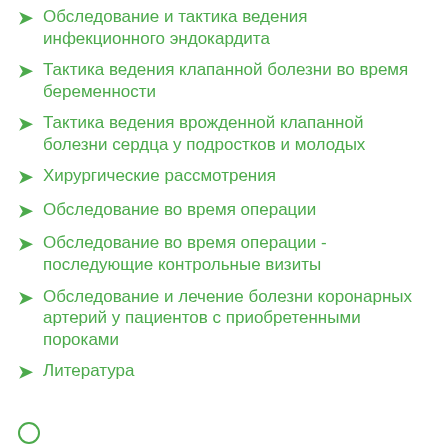Обследование и тактика ведения инфекционного эндокардита
Тактика ведения клапанной болезни во время беременности
Тактика ведения врожденной клапанной болезни сердца у подростков и молодых
Хирургические рассмотрения
Обследование во время операции
Обследование во время операции - последующие контрольные визиты
Обследование и лечение болезни коронарных артерий у пациентов с приобретенными пороками
Литература